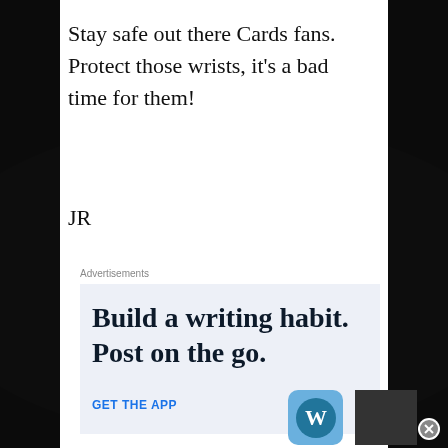Stay safe out there Cards fans. Protect those wrists, it's a bad time for them!

JR
Advertisements
[Figure (screenshot): WordPress app advertisement: 'Build a writing habit. Post on the go.' with GET THE APP call to action and WordPress logo]
Advertisements
[Figure (screenshot): Seamless food ordering advertisement with pizza image, Seamless logo, and ORDER NOW button]